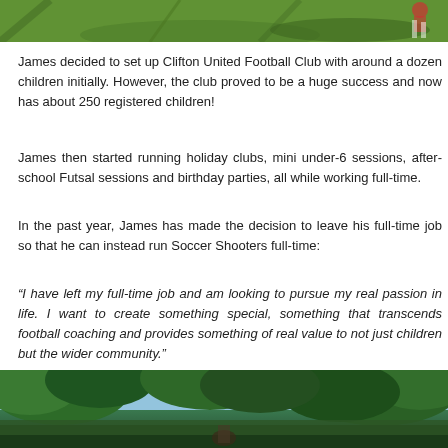[Figure (photo): Top portion of a photo showing a green football/soccer pitch with a player visible at the top right in red and white kit]
James decided to set up Clifton United Football Club with around a dozen children initially. However, the club proved to be a huge success and now has about 250 registered children!
James then started running holiday clubs, mini under-6 sessions, after-school Futsal sessions and birthday parties, all while working full-time.
In the past year, James has made the decision to leave his full-time job so that he can instead run Soccer Shooters full-time:
“I have left my full-time job and am looking to pursue my real passion in life. I want to create something special, something that transcends football coaching and provides something of real value to not just children but the wider community.”
[Figure (photo): Bottom portion of a photo showing trees with green foliage against a blue sky, with a person partially visible at the bottom]